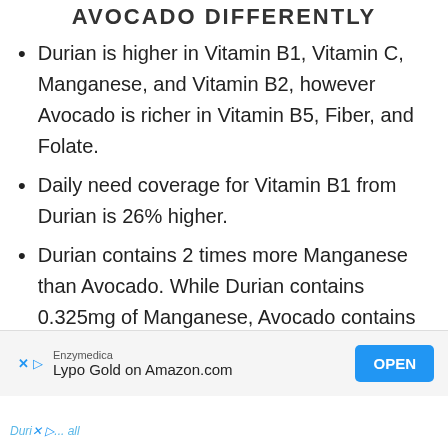AVOCADO DIFFERENTLY
Durian is higher in Vitamin B1, Vitamin C, Manganese, and Vitamin B2, however Avocado is richer in Vitamin B5, Fiber, and Folate.
Daily need coverage for Vitamin B1 from Durian is 26% higher.
Durian contains 2 times more Manganese than Avocado. While Durian contains 0.325mg of Manganese, Avocado contains only 0.142mg.
Durian ... all